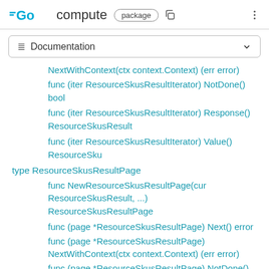GO compute package
≡ Documentation
NextWithContext(ctx context.Context) (err error)
func (iter ResourceSkusResultIterator) NotDone() bool
func (iter ResourceSkusResultIterator) Response() ResourceSkusResult
func (iter ResourceSkusResultIterator) Value() ResourceSku
type ResourceSkusResultPage
func NewResourceSkusResultPage(cur ResourceSkusResult, ...) ResourceSkusResultPage
func (page *ResourceSkusResultPage) Next() error
func (page *ResourceSkusResultPage) NextWithContext(ctx context.Context) (err error)
func (page *ResourceSkusResultPage) NotDone()